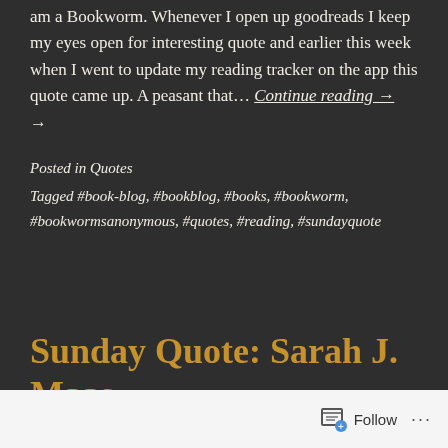am a Bookworm. Whenever I open up goodreads I keep my eyes open for interesting quote and earlier this week when I went to update my reading tracker on the app this quote came up. A peasant that… Continue reading →
Posted in Quotes
Tagged #book-blog, #bookblog, #books, #bookworm, #bookwormsanonymous, #quotes, #reading, #sundayquote
Sunday Quote: Sarah J. Maas
Follow ···